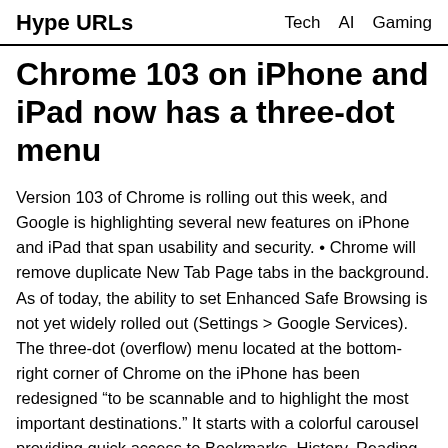Hype URLs    Tech  AI  Gaming
Chrome 103 on iPhone and iPad now has a three-dot menu
Version 103 of Chrome is rolling out this week, and Google is highlighting several new features on iPhone and iPad that span usability and security. • Chrome will remove duplicate New Tab Page tabs in the background. As of today, the ability to set Enhanced Safe Browsing is not yet widely rolled out (Settings > Google Services). The three-dot (overflow) menu located at the bottom-right corner of Chrome on the iPhone has been redesigned “to be scannable and to highlight the most important destinations.” It starts with a colorful carousel providing quick access to Bookmarks, History, Reading List, Passwords, Downloads, Recent Tabs, and Settings. Google also has an “updated language identification mode,” which uses on-device machine learning to “accurately figure out the language of the page you’re visiting, and whether it needs to be translated to match your preferences.” On the security front, Google is bringing Enhanced Safe Browsing to Chrome for iOS. Other user-facing announcements include the initial